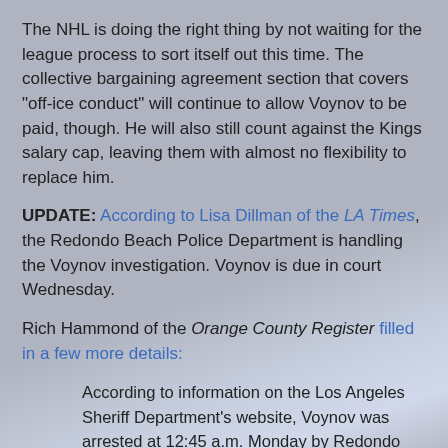The NHL is doing the right thing by not waiting for the league process to sort itself out this time. The collective bargaining agreement section that covers "off-ice conduct" will continue to allow Voynov to be paid, though. He will also still count against the Kings salary cap, leaving them with almost no flexibility to replace him.
UPDATE: According to Lisa Dillman of the LA Times, the Redondo Beach Police Department is handling the Voynov investigation. Voynov is due in court Wednesday.
Rich Hammond of the Orange County Register filled in a few more details:
According to information on the Los Angeles Sheriff Department's website, Voynov was arrested at 12:45 a.m. Monday by Redondo Beach police. The initial arrest report does not specify the charges Voynov might face, but does say he faces felony charges.
The Redondo Beach P.D. is expected to issue a statement